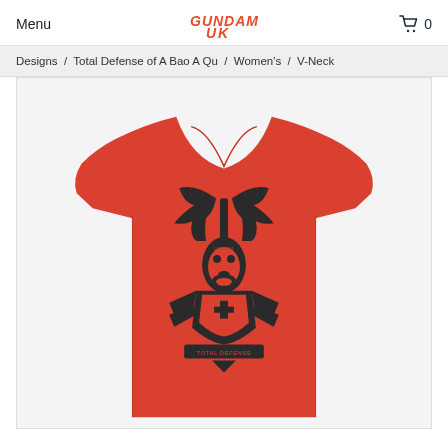Menu  GUNDAM UK  0
Designs / Total Defense of A Bao A Qu / Women's / V-Neck
[Figure (photo): Red women's v-neck t-shirt featuring a dark graphic design of a deer/stag head with antlers and heraldic elements, displayed on a white background.]